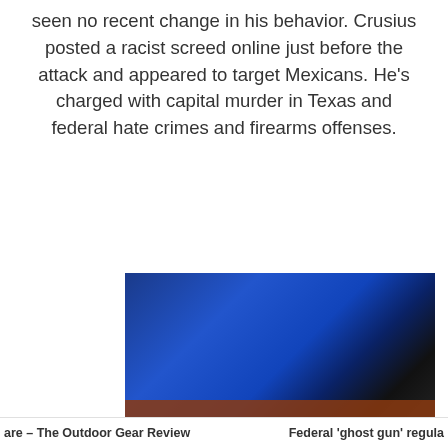seen no recent change in his behavior. Crusius posted a racist screed online just before the attack and appeared to target Mexicans. He's charged with capital murder in Texas and federal hate crimes and firearms offenses.
[Figure (photo): A photo with predominantly blue background (likely a news broadcast or event setting), with a dark figure or shadow visible on the right side. A horizontal reddish-brown bar is visible at the bottom of the image.]
are – The Outdoor Gear Review   Federal 'ghost gun' regula